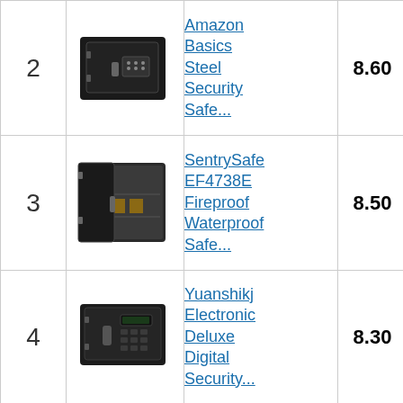| Rank | Image | Product | Score | Buy |
| --- | --- | --- | --- | --- |
| 2 | [safe image] | Amazon Basics Steel Security Safe... | 8.60 | Buy on Amazon |
| 3 | [safe image] | SentrySafe EF4738E Fireproof Waterproof Safe... | 8.50 | Buy on Amazon |
| 4 | [safe image] | Yuanshikj Electronic Deluxe Digital Security... | 8.30 | Buy on Amazon |